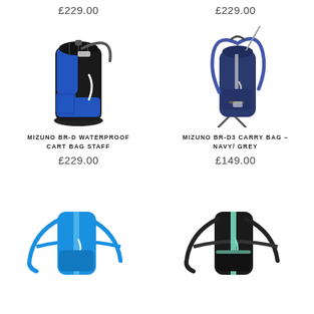£229.00
[Figure (photo): Mizuno BR-D Waterproof Cart Bag Staff in blue and black]
MIZUNO BR-D WATERPROOF CART BAG STAFF
£229.00
£229.00
[Figure (photo): Mizuno BR-D3 Carry Bag in Navy/Grey]
MIZUNO BR-D3 CARRY BAG – NAVY/ GREY
£149.00
[Figure (photo): Mizuno carry bag in blue, partially visible]
[Figure (photo): Mizuno carry bag in black and mint/teal, partially visible]